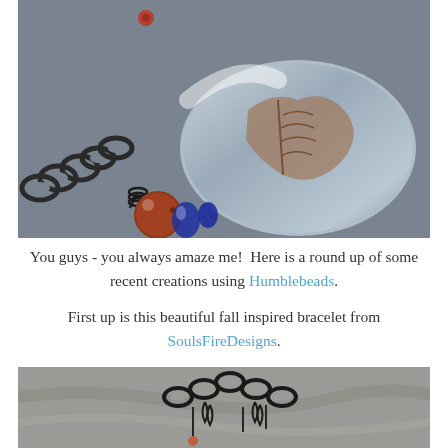[Figure (photo): Close-up photograph of a handmade fall-inspired bracelet featuring a large oval silver and copper leaf-etched focal bead, dark oxidized chain links, a round red-brown jasper bead, and small dark blue glass drops, on a gray textile background.]
You guys - you always amaze me!  Here is a round up of some recent creations using Humblebeads.
First up is this beautiful fall inspired bracelet from SoulsFireDesigns.
[Figure (photo): Partial photograph showing dark chain jewelry pieces, possibly earrings or a necklace, with small red beads, on a stone background.]